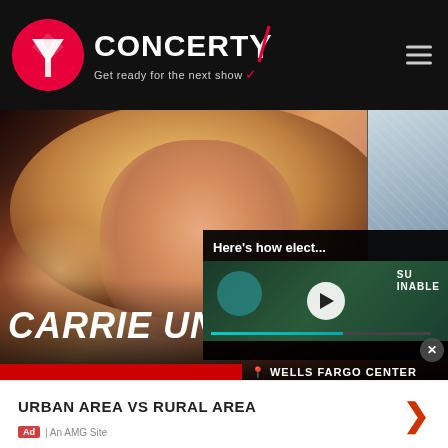[Figure (screenshot): Concerty website header with logo (red circle with Y icon), CONCERTY brand name with red slash, tagline 'Get ready for the next show' on black background, hamburger menu icon top right]
[Figure (screenshot): Website main content area showing Carrie Underwood with text 'CARRIE UNDERWO...' overlaid, red strip at bottom with venue info, right side panel with textured background, close button, and an inline video popup showing 'Here's how elect...' with play button and SUSTAINABLE label and teal progress bar]
URBAN AREA VS RURAL AREA
Ad | An AMG Site